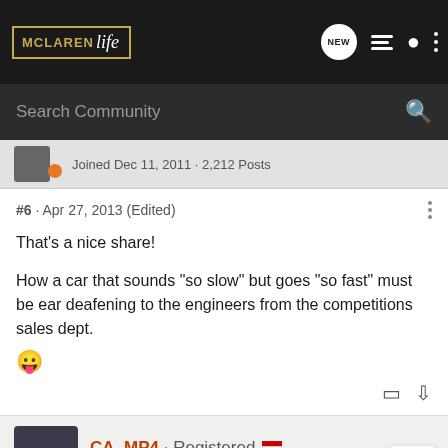McLaren Life — navigation bar with logo, NEW button, list icon, user icon, more icon
Search Community
Joined Dec 11, 2011 · 2,212 Posts
#6 · Apr 27, 2013 (Edited)
That's a nice share!

How a car that sounds "so slow" but goes "so fast" must be ear deafening to the engineers from the competitions sales dept. 😛
CA_MP4 · Registered
Joined Feb 26, 2013 · 312 Posts